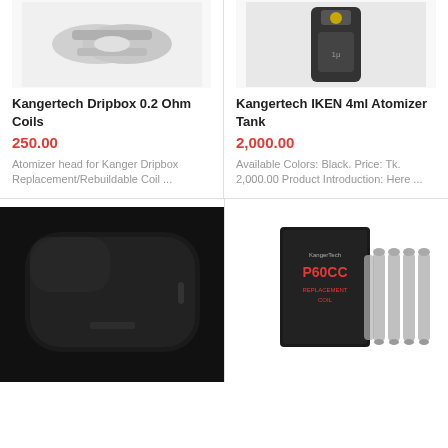[Figure (photo): Product photo of Kangertech Dripbox 0.2 Ohm Coils - close-up of metal coils]
Kangertech Dripbox 0.2 Ohm Coils
250.00
Atomizer head for Kanger Dripbox Replacement/Rebuildable Coil ...
[Figure (photo): Product photo of Kangertech IKEN 4ml Atomizer Tank - a black cylindrical tank]
Kangertech IKEN 4ml Atomizer Tank
2,000.00
Available Colors: Black. Price: Tk. 2,000.00 Product Introduction: Here ...
[Figure (photo): Product photo of a black silicone mod/device casing]
[Figure (photo): Product photo of KangerTech P60CC Replacement Coil pack with coils]